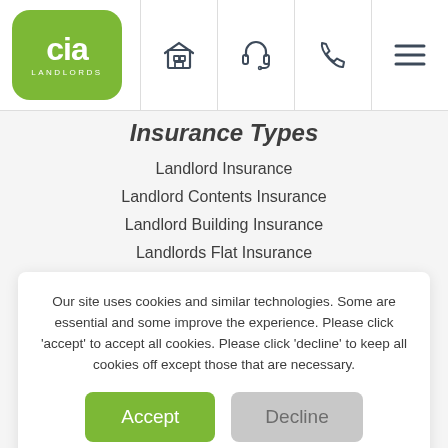[Figure (logo): CIA Landlords green rounded square logo]
[Figure (other): Header navigation icons: home/building, headset, phone, hamburger menu]
Insurance Types
Landlord Insurance
Landlord Contents Insurance
Landlord Building Insurance
Landlords Flat Insurance
Our site uses cookies and similar technologies. Some are essential and some improve the experience. Please click 'accept' to accept all cookies. Please click 'decline' to keep all cookies off except those that are necessary.
Accept
Decline
Configure